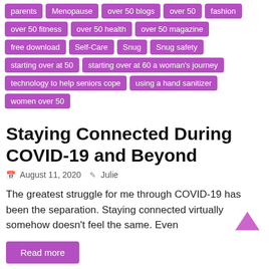parents
Menopause
over 50 blogs
over 50
fashion
over 50 fitness
over 50 health
over 50 magazine
free download
Self-Care
Snug
Snug safety
starting over at 50
starting over at 60 a woman's journey
technology to help seniors cope
using a hand sanitizer
women over 50
Staying Connected During COVID-19 and Beyond
August 11, 2020  Julie
The greatest struggle for me through COVID-19 has been the separation. Staying connected virtually somehow doesn't feel the same. Even
Read more
Best hair care for women over 50
best